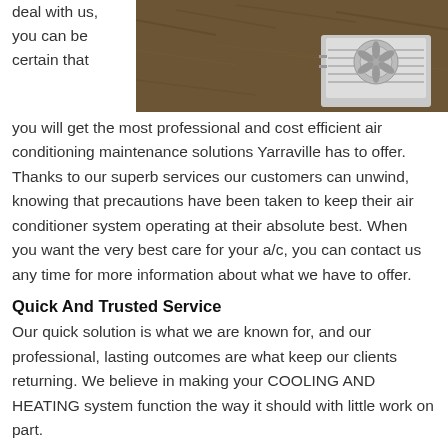deal with us, you can be certain that
[Figure (photo): Outdoor HVAC/air conditioning unit installed on gravel/mulch ground next to a wall]
you will get the most professional and cost efficient air conditioning maintenance solutions Yarraville has to offer. Thanks to our superb services our customers can unwind, knowing that precautions have been taken to keep their air conditioner system operating at their absolute best. When you want the very best care for your a/c, you can contact us any time for more information about what we have to offer.
Quick And Trusted Service
Our quick solution is what we are known for, and our professional, lasting outcomes are what keep our clients returning. We believe in making your COOLING AND HEATING system function the way it should with little work on part.
Our technicians have years of experience in the market as